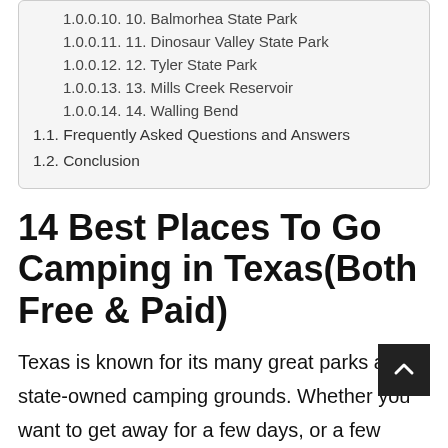1.0.0.10. 10. Balmorhea State Park
1.0.0.11. 11. Dinosaur Valley State Park
1.0.0.12. 12. Tyler State Park
1.0.0.13. 13. Mills Creek Reservoir
1.0.0.14. 14. Walling Bend
1.1. Frequently Asked Questions and Answers
1.2. Conclusion
14 Best Places To Go Camping in Texas(Both Free & Paid)
Texas is known for its many great parks and state-owned camping grounds. Whether you want to get away for a few days, or a few weeks, there are plenty of great campgrounds and camping areas to choose from.